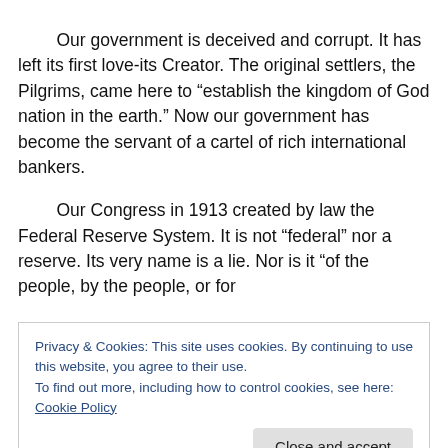Our government is deceived and corrupt. It has left its first love-its Creator. The original settlers, the Pilgrims, came here to “establish the kingdom of God nation in the earth.” Now our government has become the servant of a cartel of rich international bankers.
Our Congress in 1913 created by law the Federal Reserve System. It is not “federal” nor a reserve. Its very name is a lie. Nor is it “of the people, by the people, or for
Privacy & Cookies: This site uses cookies. By continuing to use this website, you agree to their use.
To find out more, including how to control cookies, see here: Cookie Policy
Close and accept
Our government has spent trillions of the people’s dollars and